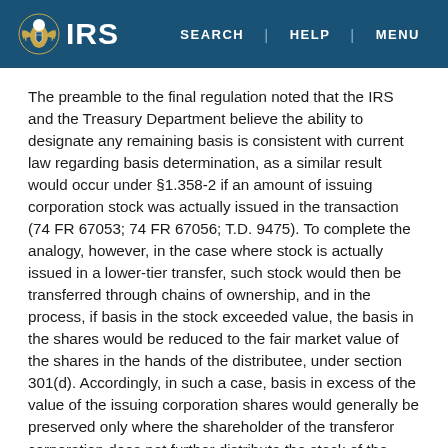IRS | SEARCH | HELP | MENU
The preamble to the final regulation noted that the IRS and the Treasury Department believe the ability to designate any remaining basis is consistent with current law regarding basis determination, as a similar result would occur under §1.358-2 if an amount of issuing corporation stock was actually issued in the transaction (74 FR 67053; 74 FR 67056; T.D. 9475). To complete the analogy, however, in the case where stock is actually issued in a lower-tier transfer, such stock would then be transferred through chains of ownership, and in the process, if basis in the stock exceeded value, the basis in the shares would be reduced to the fair market value of the shares in the hands of the distributee, under section 301(d). Accordingly, in such a case, basis in excess of the value of the issuing corporation shares would generally be preserved only where the shareholder of the transferor corporation does not further distribute the stock of the issuing corporation in a transaction to which section 301 applies.